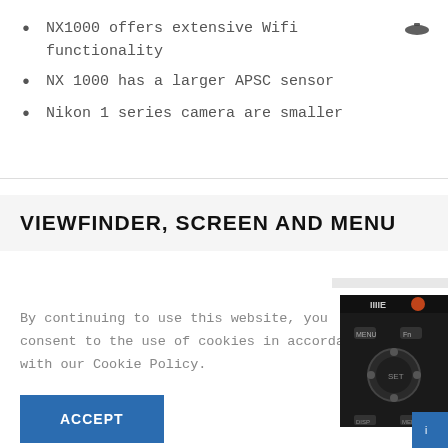NX1000 offers extensive Wifi functionality
NX 1000 has a larger APSC sensor
Nikon 1 series camera are smaller
VIEWFINDER, SCREEN AND MENU
By continuing to use this website, you consent to the use of cookies in accordance with our Cookie Policy.
[Figure (screenshot): ACCEPT button - blue rectangle with white bold text]
[Figure (photo): Close-up photo of a camera back showing control buttons and dial]